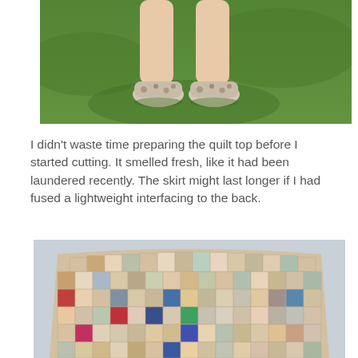[Figure (photo): Photo of a person's legs and feet wearing floral/patterned canvas shoes, standing on green grass.]
I didn't waste time preparing the quilt top before I started cutting. It smelled fresh, like it had been laundered recently. The skirt might last longer if I had fused a lightweight interfacing to the back.
[Figure (photo): Photo of a patchwork quilt skirt laid flat on a light blue/grey surface, showing colorful squares of various fabric patterns in a grid arrangement.]